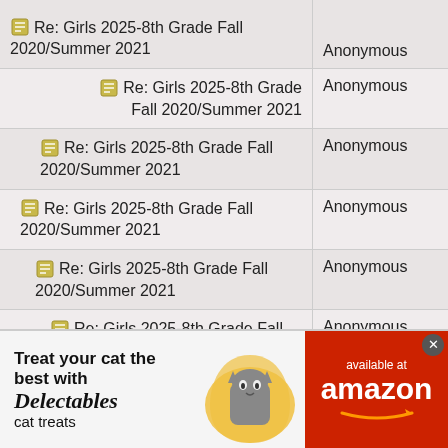| Topic | Author |
| --- | --- |
| 🗒 Re: Girls 2025-8th Grade Fall 2020/Summer 2021 | Anonymous |
| 🗒 Re: Girls 2025-8th Grade Fall 2020/Summer 2021 | Anonymous |
| 🗒 Re: Girls 2025-8th Grade Fall 2020/Summer 2021 | Anonymous |
| 🗒 Re: Girls 2025-8th Grade Fall 2020/Summer 2021 | Anonymous |
| 🗒 Re: Girls 2025-8th Grade Fall 2020/Summer 2021 | Anonymous |
| 🗒 Re: Girls 2025-8th Grade Fall 2020/Summer 2021 | Anonymous |
| 🗒 Re: Girls 2025-8th Grade Fall 2020/Summer 2021 | Anonymous |
| 🗒 Re: Girls 2025-8th Grade Fall 2020/Summer 2021 | Anonymous |
[Figure (infographic): Advertisement banner: 'Treat your cat the best with Delectables cat treats, available at amazon']